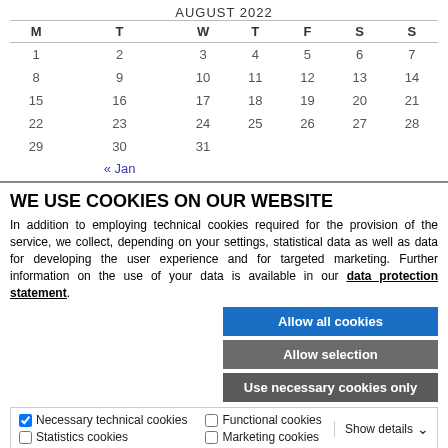AUGUST 2022
| M | T | W | T | F | S | S |
| --- | --- | --- | --- | --- | --- | --- |
| 1 | 2 | 3 | 4 | 5 | 6 | 7 |
| 8 | 9 | 10 | 11 | 12 | 13 | 14 |
| 15 | 16 | 17 | 18 | 19 | 20 | 21 |
| 22 | 23 | 24 | 25 | 26 | 27 | 28 |
| 29 | 30 | 31 |  |  |  |  |
|  | « Jan |  |  |  |  |  |
WE USE COOKIES ON OUR WEBSITE
In addition to employing technical cookies required for the provision of the service, we collect, depending on your settings, statistical data as well as data for developing the user experience and for targeted marketing. Further information on the use of your data is available in our data protection statement.
Allow all cookies
Allow selection
Use necessary cookies only
Necessary technical cookies   Functional cookies   Statistics cookies   Marketing cookies   Show details